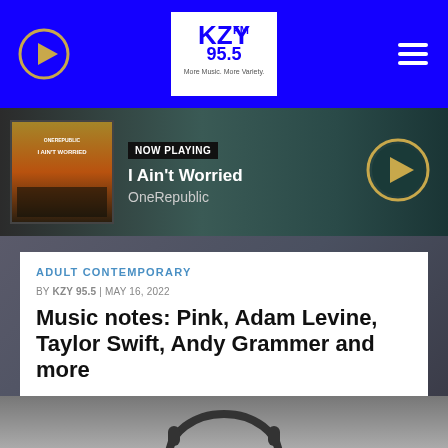KZY FM 95.5
[Figure (screenshot): Now playing bar showing album art for 'I Ain't Worried' by OneRepublic with NOW PLAYING badge and play button]
ADULT CONTEMPORARY
BY KZY 95.5 | MAY 16, 2022
Music notes: Pink, Adam Levine, Taylor Swift, Andy Grammer and more
SHARE:
[Figure (photo): Bottom portion of article image showing headphones]